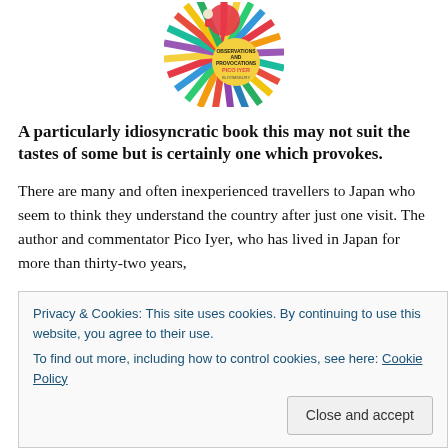[Figure (illustration): Book cover of 'A Beginner's Guide to Japan: Observations and Provocations' by Pico Iyer, published by Bloomsbury. Colorful cover with rays and illustrated figures.]
A particularly idiosyncratic book this may not suit the tastes of some but is certainly one which provokes.
There are many and often inexperienced travellers to Japan who seem to think they understand the country after just one visit. The author and commentator Pico Iyer, who has lived in Japan for more than thirty-two years,
Privacy & Cookies: This site uses cookies. By continuing to use this website, you agree to their use.
To find out more, including how to control cookies, see here: Cookie Policy
that even after thirty-two years he no more understands